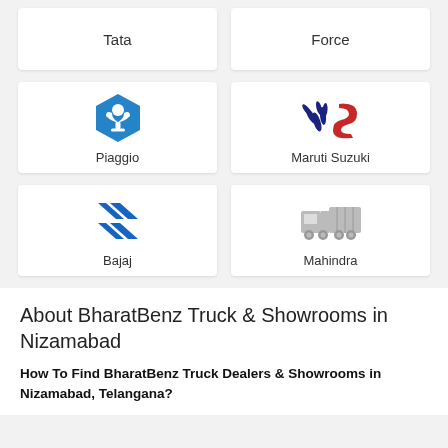[Figure (logo): Tata brand card - text only]
[Figure (logo): Force brand card - text only]
[Figure (logo): Piaggio brand card with blue hexagon logo]
[Figure (logo): Maruti Suzuki brand card with blue and red logo]
[Figure (logo): Bajaj brand card with blue diagonal arrows logo]
[Figure (logo): Mahindra brand card with grey truck icon]
About BharatBenz Truck & Showrooms in Nizamabad
How To Find BharatBenz Truck Dealers & Showrooms in Nizamabad, Telangana?